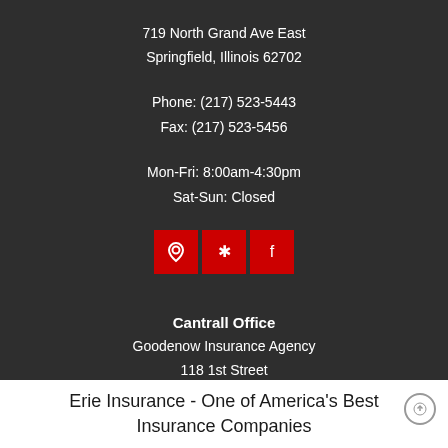719 North Grand Ave East
Springfield, Illinois 62702
Phone: (217) 523-5443
Fax: (217) 523-5456
Mon-Fri: 8:00am-4:30pm
Sat-Sun: Closed
[Figure (infographic): Three red square icon buttons in a row: Google Maps pin icon, Yelp star icon, Facebook icon]
Cantrall Office
Goodenow Insurance Agency
118 1st Street
Erie Insurance - One of America's Best Insurance Companies